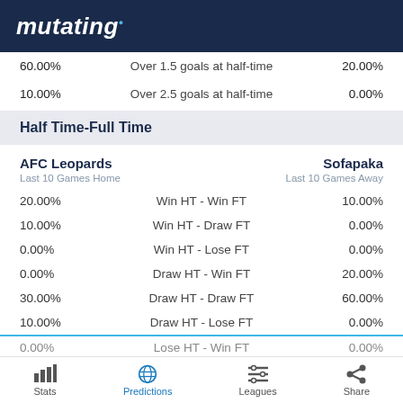mutating
| Left % | Stat | Right % |
| --- | --- | --- |
| 60.00% | Over 1.5 goals at half-time | 20.00% |
| 10.00% | Over 2.5 goals at half-time | 0.00% |
Half Time-Full Time
AFC Leopards
Last 10 Games Home
Sofapaka
Last 10 Games Away
| Left % | Stat | Right % |
| --- | --- | --- |
| 20.00% | Win HT - Win FT | 10.00% |
| 10.00% | Win HT - Draw FT | 0.00% |
| 0.00% | Win HT - Lose FT | 0.00% |
| 0.00% | Draw HT - Win FT | 20.00% |
| 30.00% | Draw HT - Draw FT | 60.00% |
| 10.00% | Draw HT - Lose FT | 0.00% |
| 0.00% | Lose HT - Win FT | 0.00% |
Stats | Predictions | Leagues | Share